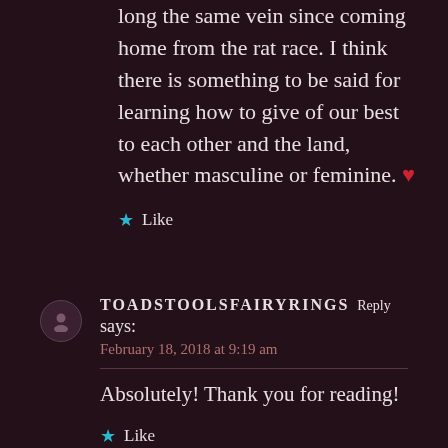long the same vein since coming home from the rat race. I think there is something to be said for learning how to give of our best to each other and the land, whether masculine or feminine. ❤
★ Like
TOADSTOOLSFAIRYRINGS Reply says: February 18, 2018 at 9:19 am
Absolutely! Thank you for reading!
★ Like